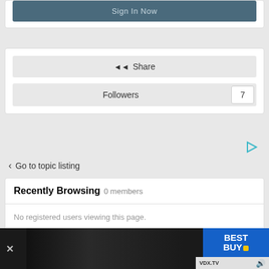[Figure (screenshot): Sign In Now button in a dark teal/slate color]
[Figure (screenshot): Share button and Followers row with count 7]
Go to topic listing
Recently Browsing   0 members
No registered users viewing this page.
[Figure (screenshot): Best Buy / VDX.TV advertisement banner at bottom]